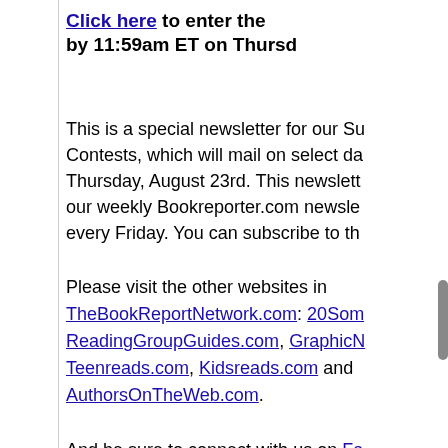Click here to enter the by 11:59am ET on Thursd
This is a special newsletter for our Su Contests, which will mail on select da Thursday, August 23rd. This newslett our weekly Bookreporter.com newsle every Friday. You can subscribe to th
Please visit the other websites in TheBookReportNetwork.com: 20Som ReadingGroupGuides.com, GraphicN Teenreads.com, Kidsreads.com and AuthorsOnTheWeb.com.
And be sure to connect with us on Fa Pinterest.